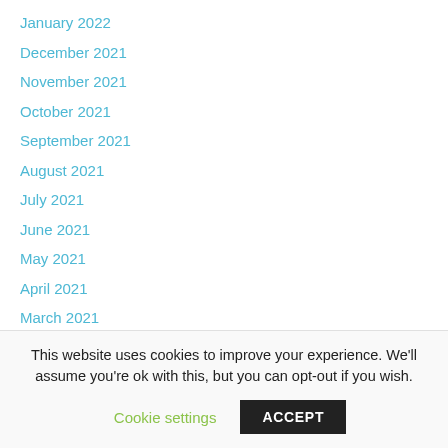January 2022
December 2021
November 2021
October 2021
September 2021
August 2021
July 2021
June 2021
May 2021
April 2021
March 2021
February 2021
This website uses cookies to improve your experience. We'll assume you're ok with this, but you can opt-out if you wish.
Cookie settings | ACCEPT